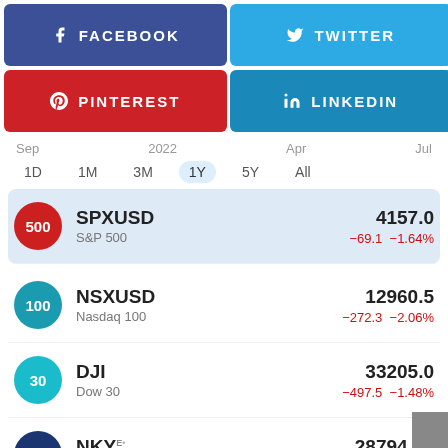[Figure (infographic): Social media share buttons: Facebook (blue-purple), Twitter (light blue), Pinterest (red), LinkedIn (dark blue)]
Sep   2022   Apr   Jul
1D  1M  3M  1Y  5Y  All
| Symbol | Name | Price | Change |
| --- | --- | --- | --- |
| SPXUSD | S&P 500 | 4157.0 | −69.1 −1.64% |
| NSXUSD | Nasdaq 100 | 12960.5 | −272.3 −2.06% |
| DJI | Dow 30 | 33205.0 | −497.5 −1.48% |
| NKY E. | Nikkei 225 | 28794.50 | −135.83 −0.47% |
| DEU30 E |  | 13544.52 |  |